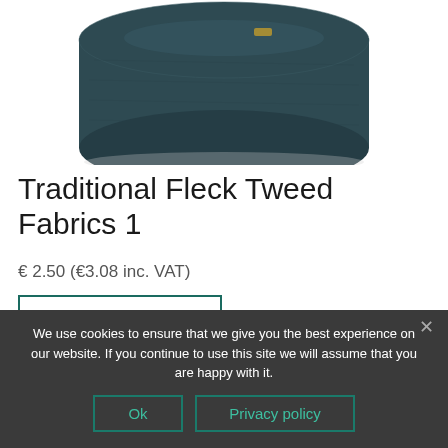[Figure (photo): A roll of dark teal/charcoal fleck tweed fabric photographed from the side, showing the rolled bolt of fabric against a white background]
Traditional Fleck Tweed Fabrics 1
€ 2.50 (€3.08 inc. VAT)
[Figure (other): Quick View button with eye icon, teal border]
We use cookies to ensure that we give you the best experience on our website. If you continue to use this site we will assume that you are happy with it.
Ok | Privacy policy